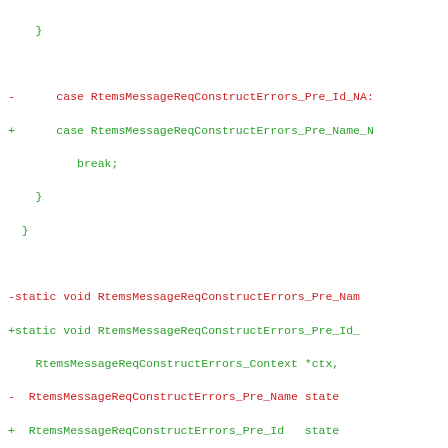Code diff showing changes to RtemsMessageReqConstructErrors functions, replacing Pre_Name with Pre_Id references